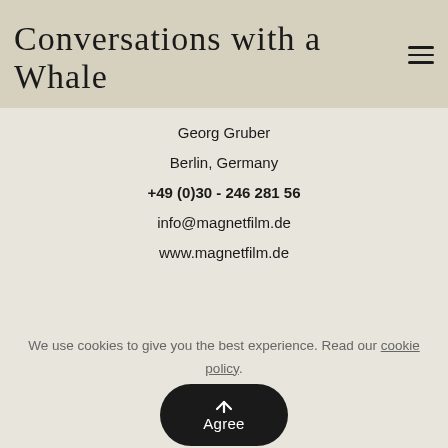Conversations with a Whale
Georg Gruber
Berlin, Germany
+49 (0)30 - 246 281 56
info@magnetfilm.de
www.magnetfilm.de
We use cookies to give you the best experience. Read our cookie policy.
Agree